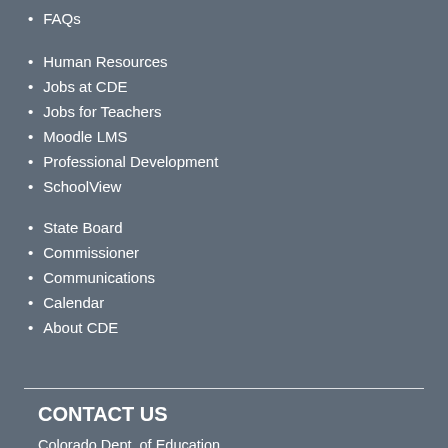FAQs
Human Resources
Jobs at CDE
Jobs for Teachers
Moodle LMS
Professional Development
SchoolView
State Board
Commissioner
Communications
Calendar
About CDE
CONTACT US
Colorado Dept. of Education
201 East Colfax Ave.
Denver, CO 80203
Phone: 303-866-6600
Fax: 303-830-0793
Contact CDE
CDE U